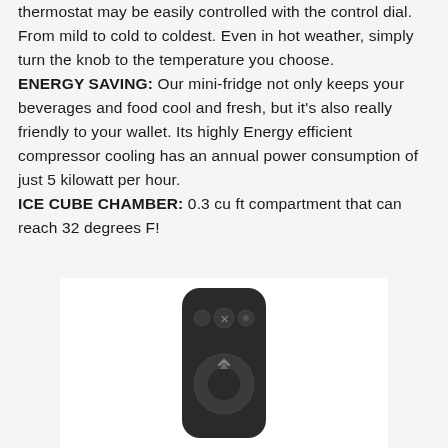thermostat may be easily controlled with the control dial. From mild to cold to coldest. Even in hot weather, simply turn the knob to the temperature you choose.
ENERGY SAVING: Our mini-fridge not only keeps your beverages and food cool and fresh, but it's also really friendly to your wallet. Its highly Energy efficient compressor cooling has an annual power consumption of just 5 kilowatt per hour.
ICE CUBE CHAMBER: 0.3 cu ft compartment that can reach 32 degrees F!
[Figure (photo): A dark gray Xbox media remote controller shown against a white background. The remote is tall and narrow with a rounded rectangular shape. It features an Xbox logo button in the center top area, surrounded by smaller control buttons.]